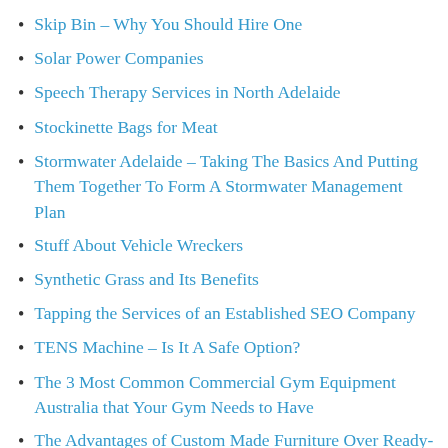Skip Bin – Why You Should Hire One
Solar Power Companies
Speech Therapy Services in North Adelaide
Stockinette Bags for Meat
Stormwater Adelaide – Taking The Basics And Putting Them Together To Form A Stormwater Management Plan
Stuff About Vehicle Wreckers
Synthetic Grass and Its Benefits
Tapping the Services of an Established SEO Company
TENS Machine – Is It A Safe Option?
The 3 Most Common Commercial Gym Equipment Australia that Your Gym Needs to Have
The Advantages of Custom Made Furniture Over Ready-Made
The Advantages of Hiring Professional Home